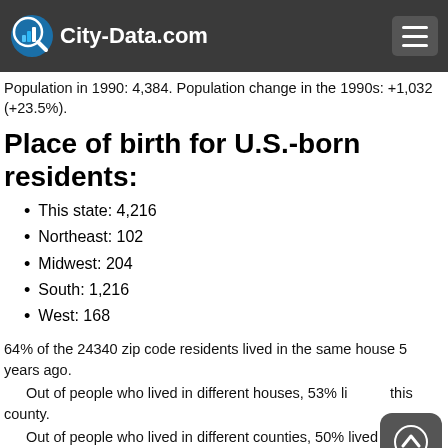City-Data.com
Population in 1990: 4,384. Population change in the 1990s: +1,032 (+23.5%).
Place of birth for U.S.-born residents:
This state: 4,216
Northeast: 102
Midwest: 204
South: 1,216
West: 168
64% of the 24340 zip code residents lived in the same house 5 years ago.
Out of people who lived in different houses, 53% lived in this county.
Out of people who lived in different counties, 50% lived in Virginia.